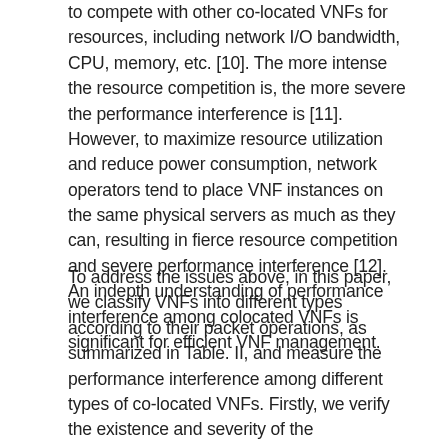to compete with other co-located VNFs for resources, including network I/O bandwidth, CPU, memory, etc. [10]. The more intense the resource competition is, the more severe the performance interference is [11]. However, to maximize resource utilization and reduce power consumption, network operators tend to place VNF instances on the same physical servers as much as they can, resulting in fierce resource competition and severe performance interference [12]. An indepth understanding of performance interference among colocated VNFs is significant for efficient VNF management.
To address the issues above, in this paper, we classify VNFs into different types according to their packet operations, as summarized in Table. II, and measure the performance interference among different types of co-located VNFs. Firstly, we verify the existence and severity of the performance interference by measuring